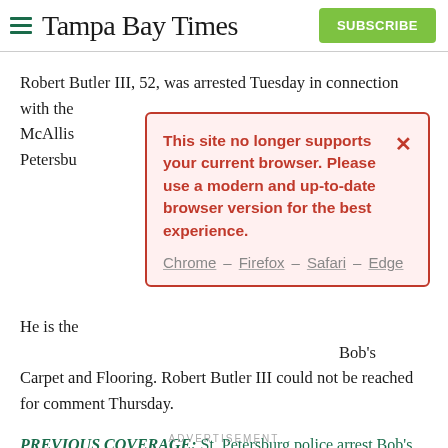Tampa Bay Times | SUBSCRIBE
Robert Butler III, 52, was arrested Tuesday in connection with the [obscured by popup] McAllis[ter] [St.] Petersbu[rg]
[Figure (screenshot): Browser compatibility warning popup with red border and pink background. Text reads: 'This site no longer supports your current browser. Please use a modern and up-to-date browser version for the best experience.' Links: Chrome – Firefox – Safari – Edge. Red X close button in top right.]
He is the [obscured] Bob's Carpet and Flooring. Robert Butler III could not be reached for comment Thursday.
PREVIOUS COVERAGE: St. Petersburg police arrest Bob's Carpet and Flooring heir, several others, in death of 22-year-old woman found in alley
ADVERTISEMENT